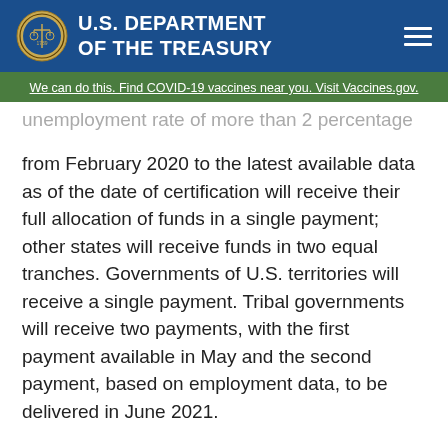U.S. DEPARTMENT OF THE TREASURY
We can do this. Find COVID-19 vaccines near you. Visit Vaccines.gov.
unemployment rate of more than 2 percentage points from February 2020 to the latest available data as of the date of certification will receive their full allocation of funds in a single payment; other states will receive funds in two equal tranches. Governments of U.S. territories will receive a single payment. Tribal governments will receive two payments, with the first payment available in May and the second payment, based on employment data, to be delivered in June 2021.
More detailed information about funding amounts can be found in the allocation tables above.